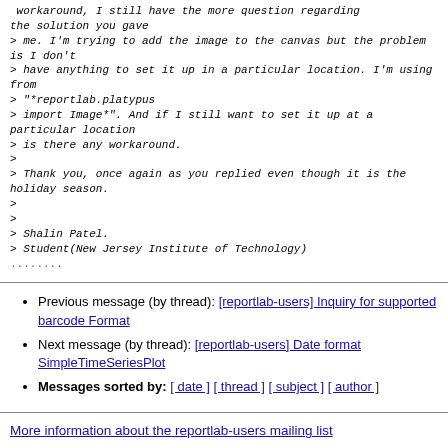> workaround, I still have the more question regarding the solution you gave
> me. I'm trying to add the image to the canvas but the problem is I don't
> have anything to set it up in a particular location. I'm using from
> "*reportlab.platypus
> import Image*". And if I still want to set it up at a particular location
> is there any workaround.
>
> Thank you, once again as you replied even though it is the holiday season.
>
>
> Shalin Patel.
> Student(New Jersey Institute of Technology)
.........
Previous message (by thread): [reportlab-users] Inquiry for supported barcode Format
Next message (by thread): [reportlab-users] Date format SimpleTimeSeriesPlot
Messages sorted by: [ date ] [ thread ] [ subject ] [ author ]
More information about the reportlab-users mailing list